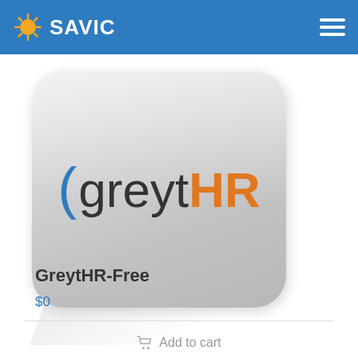SAVIC
[Figure (logo): GreytHR product logo — rounded rectangle icon with gradient grey background, showing a stylized blue parenthesis/arc followed by 'greyt' in dark grey and 'HR' in orange.]
GreytHR-Free
$0
Add to cart